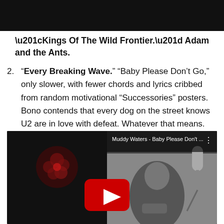[Figure (other): Black banner/header bar at the top of the page]
“Kings Of The Wild Frontier.” Adam and the Ants.
2. “Every Breaking Wave.” “Baby Please Don’t Go,” only slower, with fewer chords and lyrics cribbed from random motivational “Successories” posters. Bono contends that every dog on the street knows U2 are in love with defeat. Whatever that means.
[Figure (screenshot): YouTube video thumbnail for Muddy Waters - Baby Please Don't ... showing a black and white photo of a man playing harmonica near a microphone, with a red YouTube play button overlay and video title bar at top]